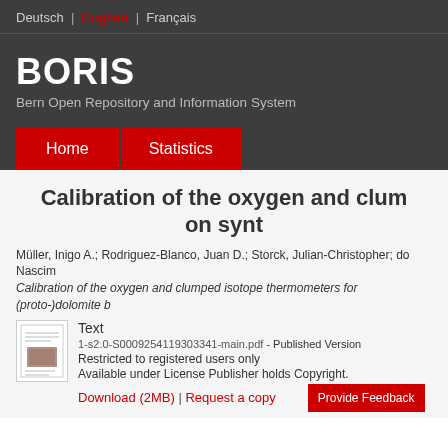Deutsch | English | Français
BORIS
Bern Open Repository and Information System
Home   Statistics
Calibration of the oxygen and clum... on synth...
Müller, Inigo A.; Rodriguez-Blanco, Juan D.; Storck, Julian-Christopher; do Nascim...
Calibration of the oxygen and clumped isotope thermometers for (proto-)dolomite b...
Text
1-s2.0-S0009254119303341-main.pdf - Published Version
Restricted to registered users only
Available under License Publisher holds Copyright.
Download (2MB) | Request a copy
Provide Feedback